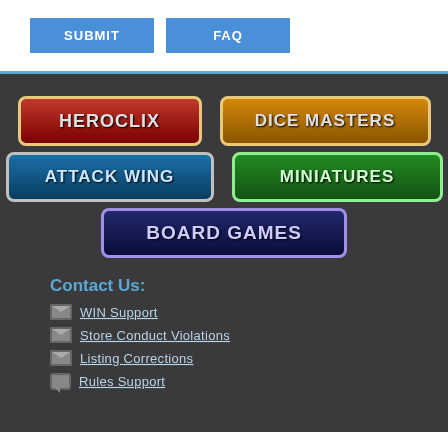[Figure (other): SUBMIT button - blue rectangular button with white caps text]
[Figure (other): FAQ button - blue rectangular button with white caps text]
[Figure (logo): HeroClix logo badge - red gradient background with gold border]
[Figure (logo): Dice Masters logo badge - orange gradient background with gold border]
[Figure (logo): Attack Wing logo badge - blue gradient background with silver border]
[Figure (logo): Miniatures logo badge - green gradient background with light green border]
[Figure (logo): Board Games logo badge - dark purple gradient background with purple border]
Contact Us:
WIN Support
Store Conduct Violations
Listing Corrections
Rules Support